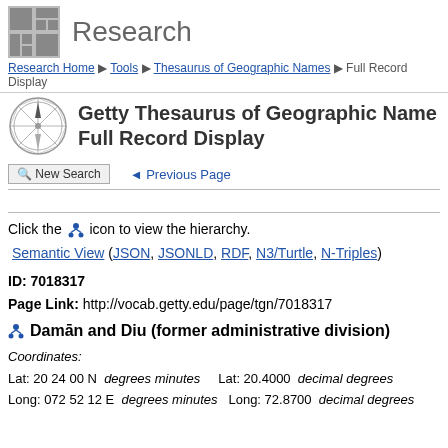Research
Research Home ▶ Tools ▶ Thesaurus of Geographic Names ▶ Full Record Display
Getty Thesaurus of Geographic Names Full Record Display
New Search   ◄ Previous Page
Click the [hierarchy icon] icon to view the hierarchy.
Semantic View (JSON, JSONLD, RDF, N3/Turtle, N-Triples)
ID: 7018317
Page Link: http://vocab.getty.edu/page/tgn/7018317
Damān and Diu (former administrative division)
Coordinates:
Lat: 20 24 00 N  degrees minutes    Lat: 20.4000  decimal degrees
Long: 072 52 12 E  degrees minutes  Long: 72.8700  decimal degrees